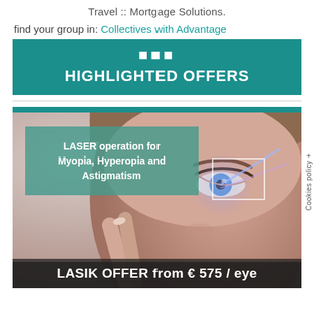Travel :: Mortgage Solutions.
find your group in: Collectives with Advantage
••• HIGHLIGHTED OFFERS
[Figure (photo): Woman touching her eye with a finger, with a teal overlay box showing 'LASER operation for Myopia, Hyperopia and Astigmatism' and a white rectangle outline over the eye area. Bottom text reads 'LASIK OFFER from € 575 / eye'.]
Cookies policy +